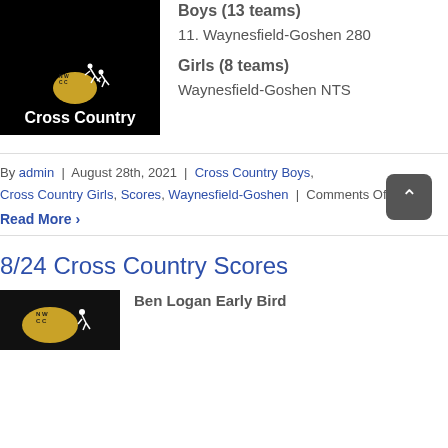[Figure (logo): NWCC Cross Country logo: black background with gold Ohio shape, white running figures, and 'Cross Country' text in white]
Boys (13 teams)
11. Waynesfield-Goshen 280
Girls (8 teams)
Waynesfield-Goshen NTS
By admin | August 28th, 2021 | Cross Country Boys, Cross Country Girls, Scores, Waynesfield-Goshen | Comments Off
Read More >
8/24 Cross Country Scores
[Figure (logo): NWCC Cross Country logo partial, black background]
Ben Logan Early Bird